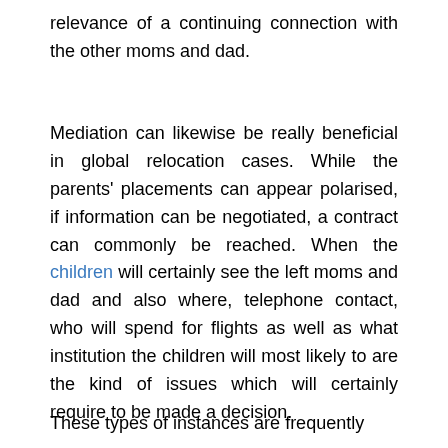relevance of a continuing connection with the other moms and dad.
Mediation can likewise be really beneficial in global relocation cases. While the parents' placements can appear polarised, if information can be negotiated, a contract can commonly be reached. When the children will certainly see the left moms and dad and also where, telephone contact, who will spend for flights as well as what institution the children will most likely to are the kind of issues which will certainly require to be made a decision.
These types of instances are frequently